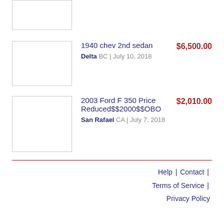[Figure (photo): Thumbnail image placeholder (top, partially cropped)]
1940 chev 2nd sedan — $6,500.00 — Delta BC | July 10, 2018
[Figure (photo): Thumbnail image placeholder for 1940 chev 2nd sedan listing]
2003 Ford F 350 Price Reduced$$2000$$OBO — $2,010.00 — San Rafael CA | July 7, 2018
[Figure (photo): Thumbnail image placeholder for 2003 Ford F 350 listing]
Help | Contact | Terms of Service | Privacy Policy